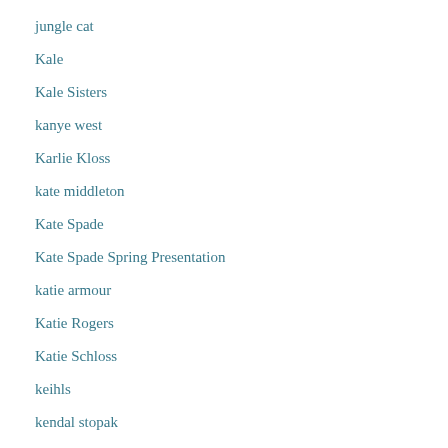jungle cat
Kale
Kale Sisters
kanye west
Karlie Kloss
kate middleton
Kate Spade
Kate Spade Spring Presentation
katie armour
Katie Rogers
Katie Schloss
keihls
kendal stopak
kendra scott
Kentucky Derby
ki…